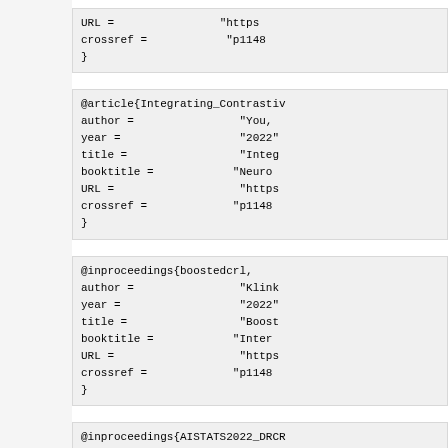URL =                "https
  crossref =           "p1148
}
@article{Integrating_Contrastiv
  author =             "You,
  year =               "2022"
  title =              "Integ
  booktitle =          "Neuro
  URL =                "https
  crossref =           "p1148
}
@inproceedings{boostedcrl,
  author =             "Klink
  year =               "2022"
  title =              "Boost
  booktitle =          "Inter
  URL =                "https
  crossref =           "p1148
}
@inproceedings{AISTATS2022_DRCR
  author =             "Mamma